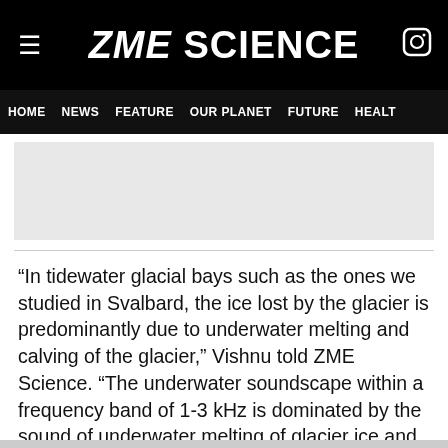ZME SCIENCE
HOME  NEWS  FEATURE  OUR PLANET  FUTURE  HEALT
[Figure (other): Advertisement placeholder area (grey rectangle)]
“In tidewater glacial bays such as the ones we studied in Svalbard, the ice lost by the glacier is predominantly due to underwater melting and calving of the glacier,” Vishnu told ZME Science. “The underwater soundscape within a frequency band of 1-3 kHz is dominated by the sound of underwater melting of glacier ice and subsequent release of pressurized bubbles from within this ice.”